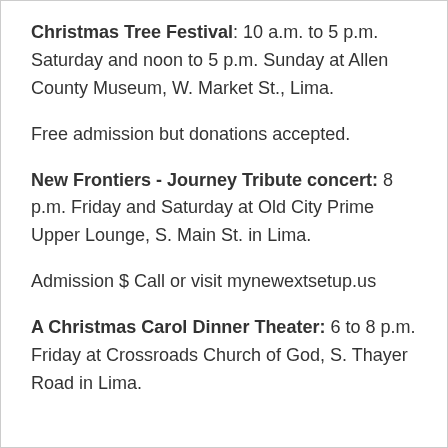Christmas Tree Festival: 10 a.m. to 5 p.m. Saturday and noon to 5 p.m. Sunday at Allen County Museum, W. Market St., Lima.
Free admission but donations accepted.
New Frontiers - Journey Tribute concert: 8 p.m. Friday and Saturday at Old City Prime Upper Lounge, S. Main St. in Lima.
Admission $ Call or visit mynewextsetup.us
A Christmas Carol Dinner Theater: 6 to 8 p.m. Friday at Crossroads Church of God, S. Thayer Road in Lima.